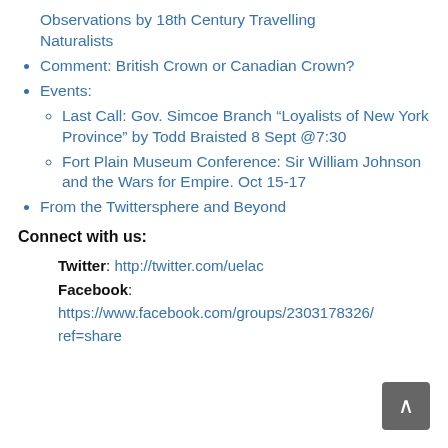Observations by 18th Century Travelling Naturalists
Comment: British Crown or Canadian Crown?
Events:
Last Call: Gov. Simcoe Branch “Loyalists of New York Province” by Todd Braisted 8 Sept @7:30
Fort Plain Museum Conference: Sir William Johnson and the Wars for Empire. Oct 15-17
From the Twittersphere and Beyond
Connect with us:
Twitter: http://twitter.com/uelac
Facebook: https://www.facebook.com/groups/2303178326/ ref=share